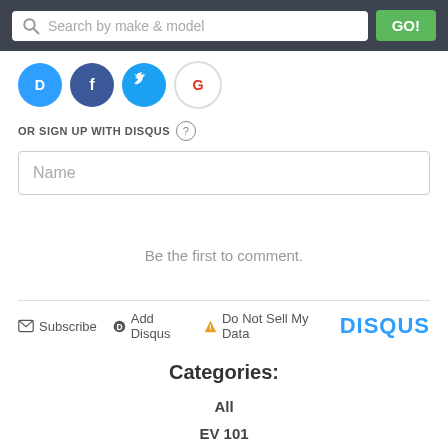[Figure (screenshot): Search bar with magnifying glass icon, placeholder text 'Search by make & model', and green GO! button on dark background]
[Figure (infographic): Row of social login icons: Disqus (blue), Facebook (dark blue), Twitter (light blue), Google (red/white)]
OR SIGN UP WITH DISQUS (?)
[Figure (screenshot): Name input field with placeholder text 'Name']
Be the first to comment.
Subscribe  Add Disqus  Do Not Sell My Data  DISQUS
Categories:
All
EV 101